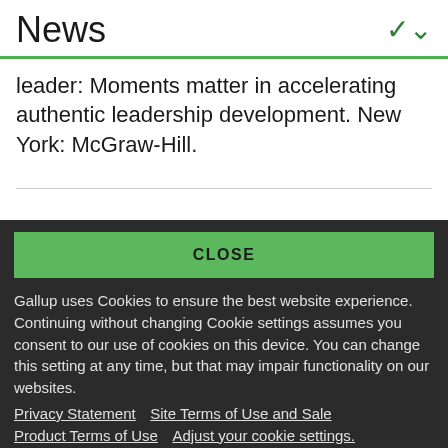News
leader: Moments matter in accelerating authentic leadership development. New York: McGraw-Hill.
CLOSE
Gallup uses Cookies to ensure the best website experience. Continuing without changing Cookie settings assumes you consent to our use of cookies on this device. You can change this setting at any time, but that may impair functionality on our websites.
Privacy Statement   Site Terms of Use and Sale
Product Terms of Use   Adjust your cookie settings.